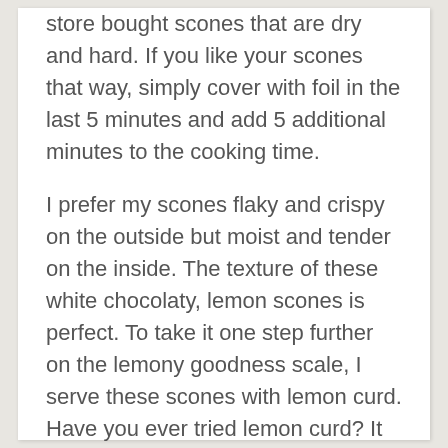store bought scones that are dry and hard. If you like your scones that way, simply cover with foil in the last 5 minutes and add 5 additional minutes to the cooking time.
I prefer my scones flaky and crispy on the outside but moist and tender on the inside. The texture of these white chocolaty, lemon scones is perfect. To take it one step further on the lemony goodness scale, I serve these scones with lemon curd. Have you ever tried lemon curd? It is creamy and packed with flavor. It's good right off the spoon but even better on a buttery, flaky, warm scone.